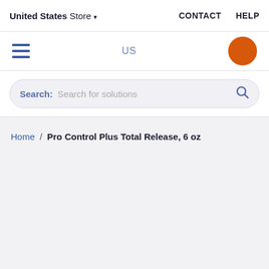United States Store ▾   CONTACT   HELP
[Figure (screenshot): Navigation bar with hamburger menu icon, US label, and orange circle avatar]
Search: Search for solutions
Home / Pro Control Plus Total Release, 6 oz